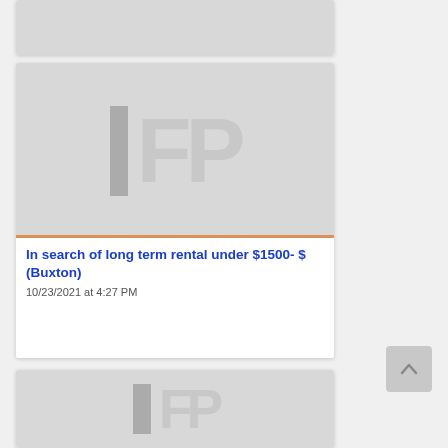[Figure (illustration): Partial top card with IFP placeholder image, mostly cut off at top of page]
[Figure (illustration): IFP placeholder image (grey background with dark grey vertical bar and light grey IFP letters) for article card]
In search of long term rental under $1500- $ (Buxton)
10/23/2021 at 4:27 PM
[Figure (illustration): Partial bottom card with IFP placeholder image, cut off at bottom of page]